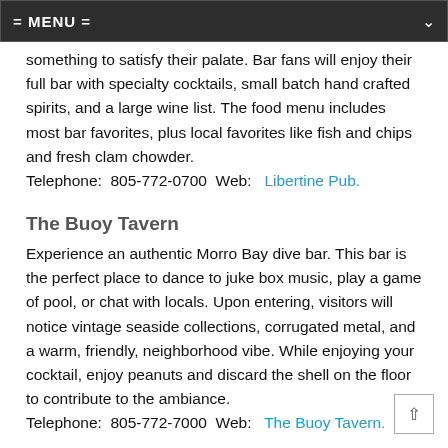= MENU =
something to satisfy their palate. Bar fans will enjoy their full bar with specialty cocktails, small batch hand crafted spirits, and a large wine list. The food menu includes most bar favorites, plus local favorites like fish and chips and fresh clam chowder. Telephone:  805-772-0700  Web:  Libertine Pub.
The Buoy Tavern
Experience an authentic Morro Bay dive bar. This bar is the perfect place to dance to juke box music, play a game of pool, or chat with locals. Upon entering, visitors will notice vintage seaside collections, corrugated metal, and a warm, friendly, neighborhood vibe. While enjoying your cocktail, enjoy peanuts and discard the shell on the floor to contribute to the ambiance. Telephone:  805-772-7000  Web:  The Buoy Tavern.
The Siren Rhythym & Booze